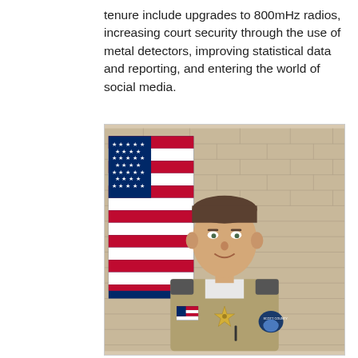tenure include upgrades to 800mHz radios, increasing court security through the use of metal detectors, improving statistical data and reporting, and entering the world of social media.
[Figure (photo): Official portrait of a male sheriff officer in tan/khaki uniform with American flag in background and brick wall. Officer wears a star badge, Scott County shoulder patch, and American flag patch on left sleeve.]